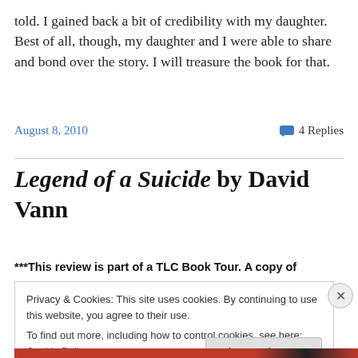told. I gained back a bit of credibility with my daughter. Best of all, though, my daughter and I were able to share and bond over the story. I will treasure the book for that.
August 8, 2010   💬 4 Replies
Legend of a Suicide by David Vann
***This review is part of a TLC Book Tour. A copy of
Privacy & Cookies: This site uses cookies. By continuing to use this website, you agree to their use.
To find out more, including how to control cookies, see here: Cookie Policy
Close and accept